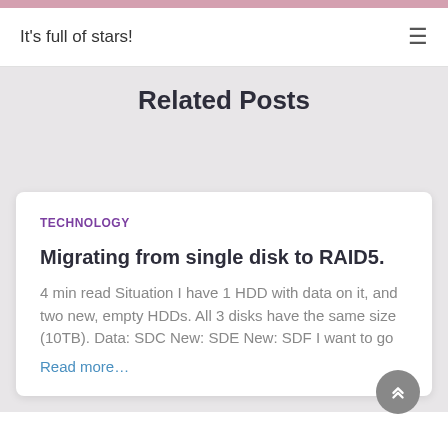It's full of stars!
Related Posts
TECHNOLOGY
Migrating from single disk to RAID5.
4 min read Situation I have 1 HDD with data on it, and two new, empty HDDs. All 3 disks have the same size (10TB). Data: SDC New: SDE New: SDF I want to go
Read more…